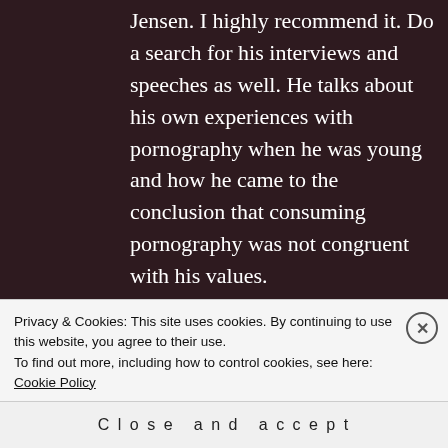Jensen. I highly recommend it. Do a search for his interviews and speeches as well. He talks about his own experiences with pornography when he was young and how he came to the conclusion that consuming pornography was not congruent with his values.
★ Like
MS TASTIC
Privacy & Cookies: This site uses cookies. By continuing to use this website, you agree to their use.
To find out more, including how to control cookies, see here: Cookie Policy
Close and accept